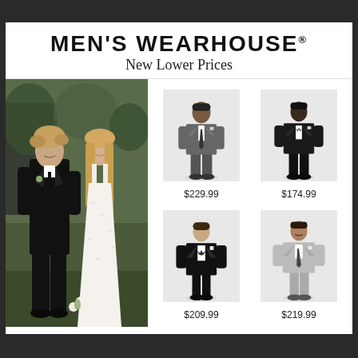MEN'S WEARHOUSE®
New Lower Prices
[Figure (photo): Man in black tuxedo suit with woman in white lace wedding dress outdoors at a wedding venue]
[Figure (photo): Man in gray charcoal suit full length product shot]
$229.99
[Figure (photo): Man in black slim suit full length product shot]
$174.99
[Figure (photo): Man in black tuxedo with bow tie full length product shot]
$209.99
[Figure (photo): Man in light gray suit full length product shot]
$219.99